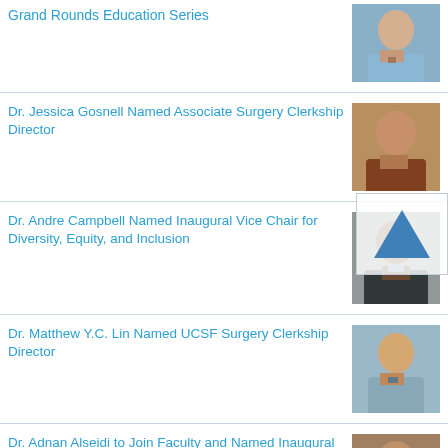Grand Rounds Education Series
[Figure (photo): Headshot of a man in a light blue shirt and tie]
Dr. Jessica Gosnell Named Associate Surgery Clerkship Director
[Figure (photo): Headshot of a woman with dark hair smiling]
Dr. Andre Campbell Named Inaugural Vice Chair for Diversity, Equity, and Inclusion
[Figure (photo): Headshot of a man in a dark suit with tie]
Dr. Matthew Y.C. Lin Named UCSF Surgery Clerkship Director
[Figure (photo): Headshot of a man in a light blue shirt and tie]
Dr. Adnan Alseidi to Join Faculty and Named Inaugural Vice Chair for Education
[Figure (photo): Headshot of a man smiling]